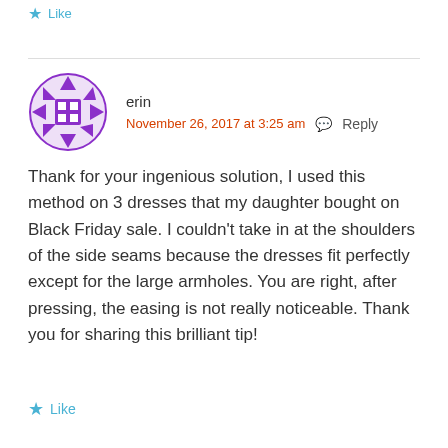Like
erin
November 26, 2017 at 3:25 am  Reply
Thank for your ingenious solution, I used this method on 3 dresses that my daughter bought on Black Friday sale. I couldn't take in at the shoulders of the side seams because the dresses fit perfectly except for the large armholes. You are right, after pressing, the easing is not really noticeable. Thank you for sharing this brilliant tip!
Like